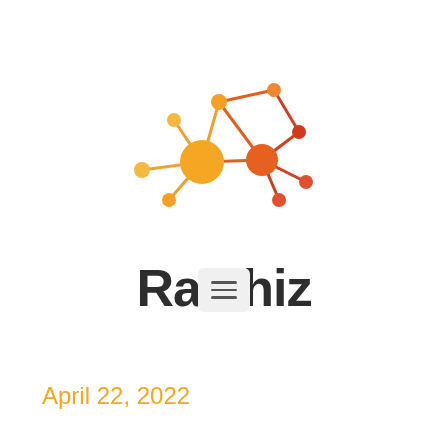[Figure (logo): Raishiz network graph logo: interconnected nodes and edges in orange gradient colors forming a cluster shape, with the brand name 'Raishiz' in bold dark text below]
[Figure (other): Hamburger menu button icon — three horizontal lines on a light gray rounded rectangle background]
April 22, 2022